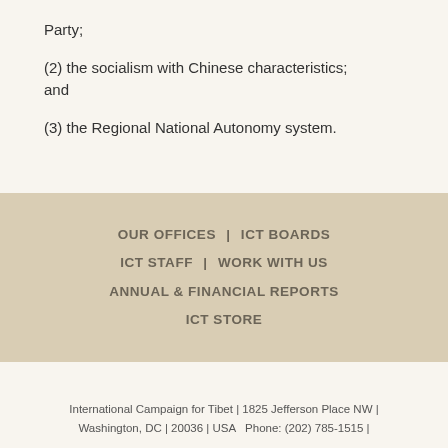Party;
(2) the socialism with Chinese characteristics; and
(3) the Regional National Autonomy system.
OUR OFFICES  |  ICT BOARDS  ICT STAFF  |  WORK WITH US  ANNUAL & FINANCIAL REPORTS  ICT STORE
International Campaign for Tibet | 1825 Jefferson Place NW | Washington, DC | 20036 | USA   Phone: (202) 785-1515 |